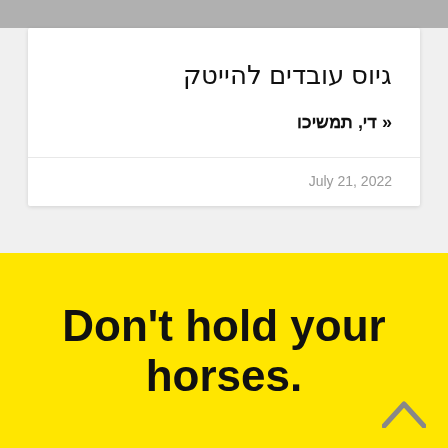גיוס עובדים להייטק
« די, תמשיכו
July 21, 2022
Don't hold your horses.